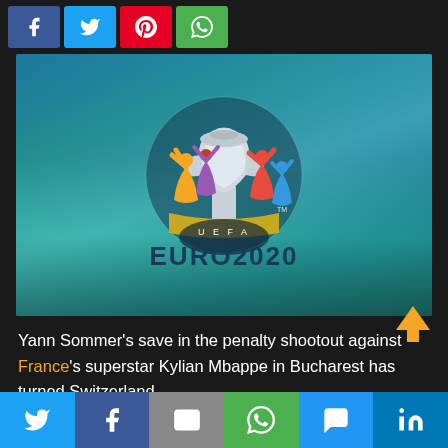[Figure (other): Top social share buttons: Facebook (blue), Twitter (cyan), Pinterest (red), WhatsApp (green)]
[Figure (photo): UEFA EURO 2020 official logo on a stadium background with teal/blue tones]
Yann Sommer's save in the penalty shootout against France's superstar Kylian Mbappe in Bucharest has turned Switzerland
[Figure (other): Bottom social share bar: Twitter, Facebook, Email, WhatsApp, SMS, LinkedIn]